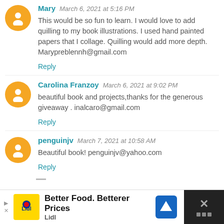Mary  March 6, 2021 at 5:16 PM
This would be so fun to learn. I would love to add quilling to my book illustrations. I used hand painted papers that I collage. Quilling would add more depth. Marypreblennh@gmail.com
Reply
Carolina Franzoy  March 6, 2021 at 9:02 PM
beautiful book and projects,thanks for the generous giveaway . inalcaro@gmail.com
Reply
penguinjv  March 7, 2021 at 10:58 AM
Beautiful book! penguinjv@yahoo.com
Reply
[Figure (screenshot): Lidl advertisement banner: Better Food. Betterer Prices / Lidl, with navigation icon and close button]